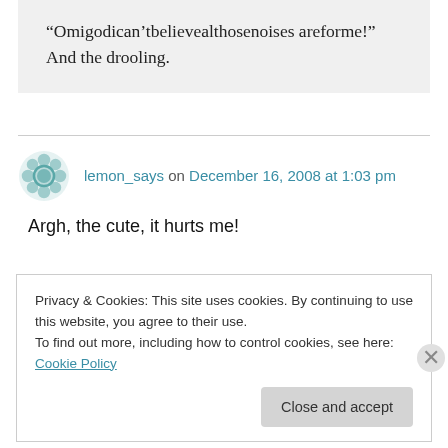“Omigodican’tbelievealthosenoises areforme!” And the drooling.
lemon_says on December 16, 2008 at 1:03 pm
Argh, the cute, it hurts me!
Privacy & Cookies: This site uses cookies. By continuing to use this website, you agree to their use.
To find out more, including how to control cookies, see here: Cookie Policy